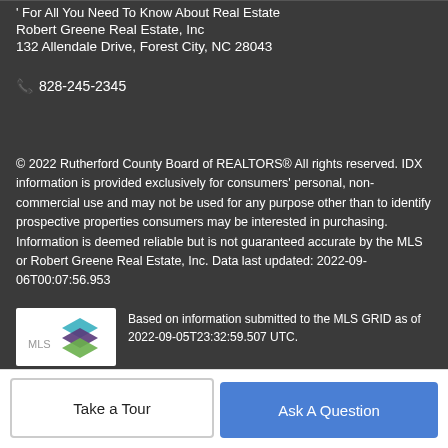For All You Need To Know About Real Estate
Robert Greene Real Estate, Inc
132 Allendale Drive, Forest City, NC 28043
828-245-2345
© 2022 Rutherford County Board of REALTORS® All rights reserved. IDX information is provided exclusively for consumers' personal, non-commercial use and may not be used for any purpose other than to identify prospective properties consumers may be interested in purchasing. Information is deemed reliable but is not guaranteed accurate by the MLS or Robert Greene Real Estate, Inc. Data last updated: 2022-09-06T00:07:56.953
[Figure (logo): MLS GRID logo with stacked colored squares]
Based on information submitted to the MLS GRID as of 2022-09-05T23:32:59.507 UTC.